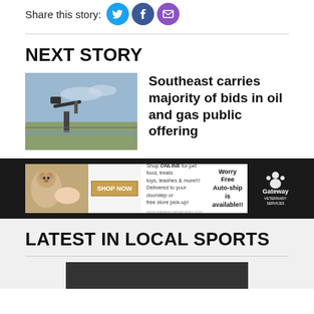Share this story:
NEXT STORY
[Figure (photo): Oil pump jack in a flat landscape with sky]
Southeast carries majority of bids in oil and gas public offering
[Figure (other): Gateway Veterinary Services advertisement banner. Text: Shop ONLINE for pet food, treats toys, leashes & more!!! Delivered to your doorstep or free store pick-up! Worry Free Auto-ship is available!! Gateway Veterinary Services. SHOP NOW button.]
LATEST IN LOCAL SPORTS